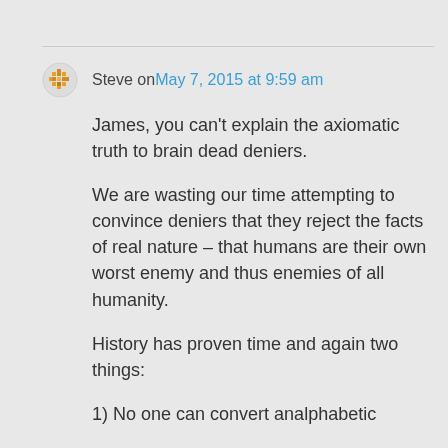Steve on May 7, 2015 at 9:59 am
James, you can't explain the axiomatic truth to brain dead deniers.
We are wasting our time attempting to convince deniers that they reject the facts of real nature – that humans are their own worst enemy and thus enemies of all humanity.
History has proven time and again two things:
1) No one can convert analphabetic